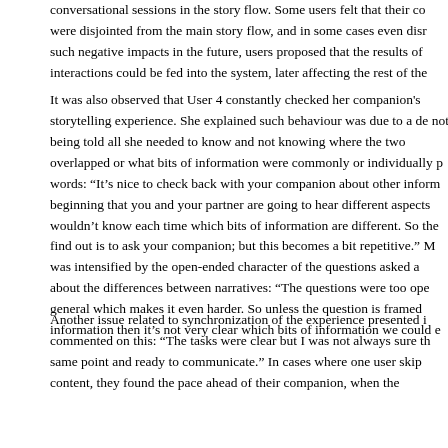conversational sessions in the story flow. Some users felt that their co were disjointed from the main story flow, and in some cases even disr such negative impacts in the future, users proposed that the results of interactions could be fed into the system, later affecting the rest of the
It was also observed that User 4 constantly checked her companion's storytelling experience. She explained such behaviour was due to a de not being told all she needed to know and not knowing where the two overlapped or what bits of information were commonly or individually p words: "It's nice to check back with your companion about other inform beginning that you and your partner are going to hear different aspects wouldn't know each time which bits of information are different. So the find out is to ask your companion; but this becomes a bit repetitive." M was intensified by the open-ended character of the questions asked a about the differences between narratives: "The questions were too ope general which makes it even harder. So unless the question is framed information then it's not very clear which bits of information we could e
Another issue related to synchronization of the experience presented i commented on this: "The tasks were clear but I was not always sure th same point and ready to communicate." In cases where one user skip content, they found the pace ahead of their companion, when the